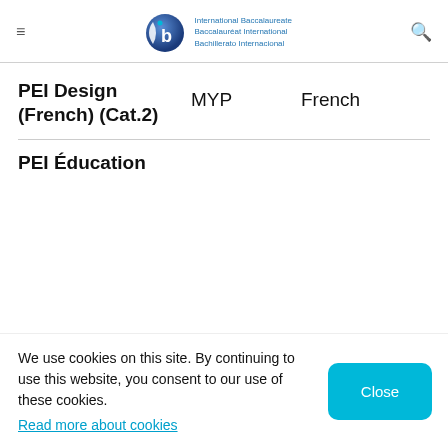IB — International Baccalaureate / Baccalauréat International / Bachillerato Internacional
PEI Design (French) (Cat.2)
MYP
French
PEI Éducation
We use cookies on this site. By continuing to use this website, you consent to our use of these cookies. Read more about cookies